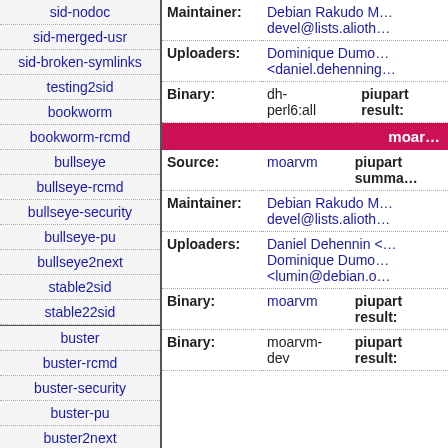sid-nodoc
sid-merged-usr
sid-broken-symlinks
testing2sid
bookworm
bookworm-rcmd
bullseye
bullseye-rcmd
bullseye-security
bullseye-pu
bullseye2next
stable2sid
stable22sid
buster
buster-rcmd
buster-security
buster-pu
buster2next
| Field | Value | Extra |
| --- | --- | --- |
| Maintainer: | Debian Rakudo M… devel@lists.alioth… |  |
| Uploaders: | Dominique Dumo… <daniel.dehenning… |  |
| Binary: | dh-perl6:all | piupart result: |
| (section header) | moar… |  |
| Source: | moarvm | piupart summa… |
| Maintainer: | Debian Rakudo M… devel@lists.alioth… |  |
| Uploaders: | Daniel Dehennin … Dominique Dumo… <lumin@debian.o… |  |
| Binary: | moarvm | piupart result: |
| Binary: | moarvm-dev | piupart result: |